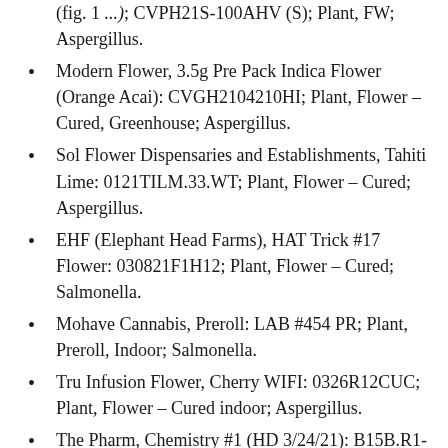(continued)...Aspergillus.
Modern Flower, 3.5g Pre Pack Indica Flower (Orange Acai): CVGH2104210HI; Plant, Flower – Cured, Greenhouse; Aspergillus.
Sol Flower Dispensaries and Establishments, Tahiti Lime: 0121TILM.33.WT; Plant, Flower – Cured; Aspergillus.
EHF (Elephant Head Farms), HAT Trick #17 Flower: 030821F1H12; Plant, Flower – Cured; Salmonella.
Mohave Cannabis, Preroll: LAB #454 PR; Plant, Preroll, Indoor; Salmonella.
Tru Infusion Flower, Cherry WIFI: 0326R12CUC; Plant, Flower – Cured indoor; Aspergillus.
The Pharm, Chemistry #1 (HD 3/24/21): B15B.R1-